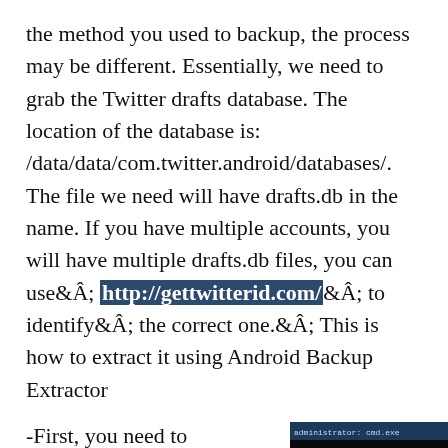the method you used to backup, the process may be different. Essentially, we need to grab the Twitter drafts database. The location of the database is: /data/data/com.twitter.android/databases/. The file we need will have drafts.db in the name. If you have multiple accounts, you will have multiple drafts.db files, you can useÂ http://gettwitterid.com/ Â to identifyÂ the correct one.Â This is how to extract it using Android Backup Extractor
-First, you need to download Android Backup ExtractorÂ & extract it’s contents.
[Figure (screenshot): A Windows command prompt / cmd.exe window showing a java command being run to extract an Android backup file. Text visible includes version 6.1.7601, Microsoft Corporation. All rights reserved, and a java -jar command referencing android-backup files.]
-Then run the following